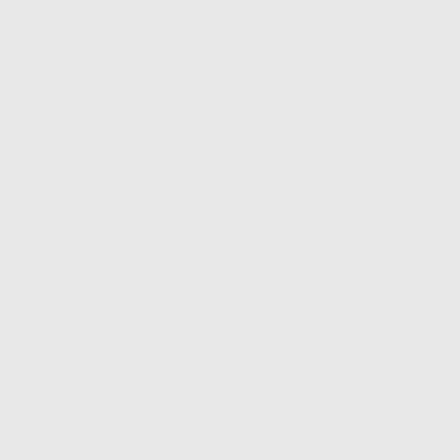[Figure (photo): Photo Not Available placeholder image for profile card 1]
Religion: Hindu, , Star: Do...
Location: ,
Education: Masters, Scien...
Occupation: Biologist / Bo...
Last Login : 18-June-2012
MAT1682
Age: 37 Height: 5ft 4in
Religion: Hindu, Does not...
Location: ,
Education: Masters, Scien...
Occupation: Biologist / Bo...
[Figure (photo): Photo Not Available placeholder image for profile card 2 MAT1682]
Last Login :
MAT1684
Age: 39 Height: 5ft 7in
Religion: Hindu, Brahmin...
[Figure (photo): Photo Not Available placeholder image for profile card 3 MAT1684]